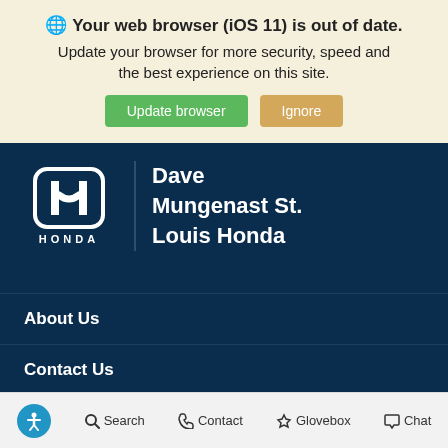🌐 Your web browser (iOS 11) is out of date. Update your browser for more security, speed and the best experience on this site. Update browser | Ignore
[Figure (logo): Honda logo with H emblem and HONDA text]
Dave Mungenast St. Louis Honda
About Us
Contact Us
Hours & Directions
Meet Our Staff
Accessibility | Search | Contact | Glovebox | Chat